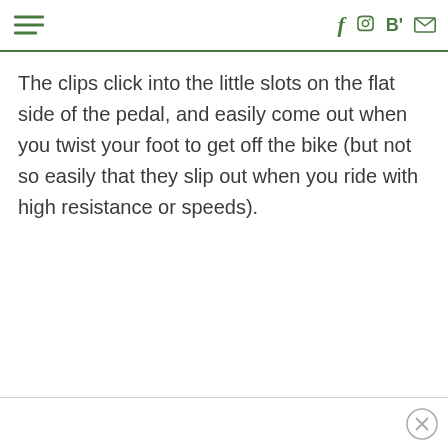Navigation and social icons header
The clips click into the little slots on the flat side of the pedal, and easily come out when you twist your foot to get off the bike (but not so easily that they slip out when you ride with high resistance or speeds).